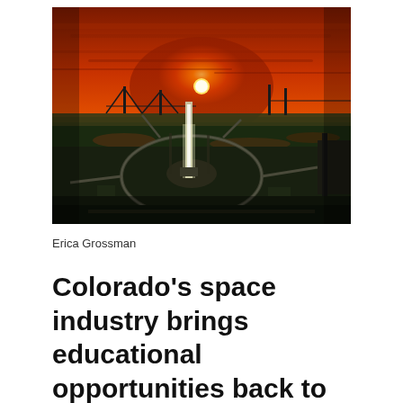[Figure (photo): Aerial photograph of a rocket launch pad at sunset/dusk with dramatic orange sky. A tall illuminated rocket stands on the circular launch pad surrounded by roads and green wetlands, with a body of water and bridges visible in the background.]
Erica Grossman
Colorado's space industry brings educational opportunities back to